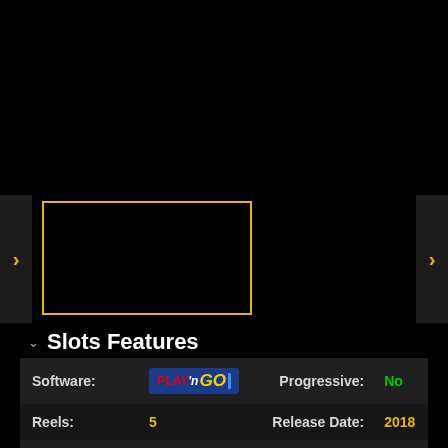[Figure (screenshot): Black area at top of page, carousel/slider area with yellow-bordered thumbnail on left, left and right navigation arrows]
Slots Features
| Label | Value | Label | Value |
| --- | --- | --- | --- |
| Software: | Play'n GO | Progressive: | No |
| Reels: | 5 | Release Date: | 2018 |
| Paylines: | 20 | Scatter Symbol: | Yes |
| Coin Range: | $0.01 - $100 | Bonus Round: | Yes |
| Maximum Bet: | 20 coins | Gamble: | No |
| Jackpot: | 5,000 | Wild Symbol: | No |